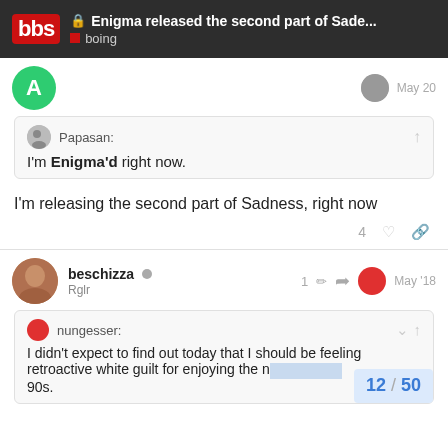🔒 Enigma released the second part of Sade... | boing
Papasan: I'm Enigma'd right now.
I'm releasing the second part of Sadness, right now
beschizza ◯ Rglr  1 ✏ ↩  May '18
nungesser: I didn't expect to find out today that I should be feeling retroactive white guilt for enjoying the n... 90s.
12 / 50